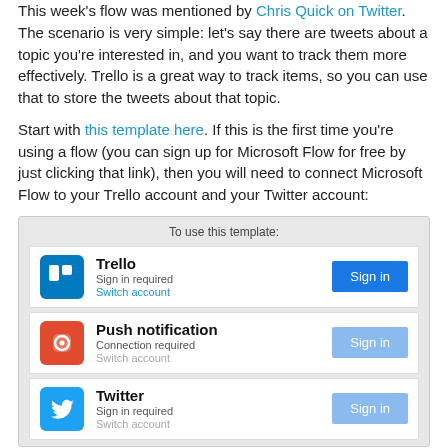This week's flow was mentioned by Chris Quick on Twitter. The scenario is very simple: let's say there are tweets about a topic you're interested in, and you want to track them more effectively. Trello is a great way to track items, so you can use that to store the tweets about that topic.
Start with this template here. If this is the first time you're using a flow (you can sign up for Microsoft Flow for free by just clicking that link), then you will need to connect Microsoft Flow to your Trello account and your Twitter account:
[Figure (screenshot): Screenshot of Microsoft Flow template connection panel showing three services: Trello (Sign in required / Switch account, with Sign in button), Push notification (Connection required / Switch account, with Sign in button), and Twitter (Sign in required / Switch account, with Sign in button).]